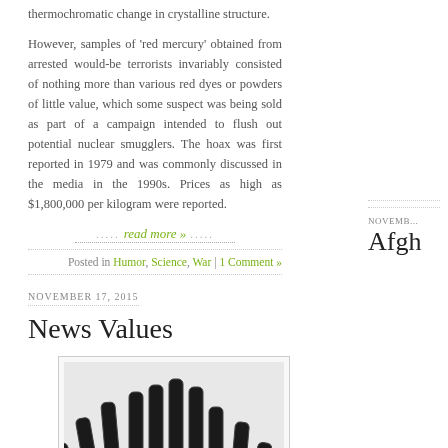thermochromatic change in crystalline structure.
However, samples of 'red mercury' obtained from arrested would-be terrorists invariably consisted of nothing more than various red dyes or powders of little value, which some suspect was being sold as part of a campaign intended to flush out potential nuclear smugglers. The hoax was first reported in 1979 and was commonly discussed in the media in the 1990s. Prices as high as $1,800,000 per kilogram were reported.
read more »
Posted in Humor, Science, War | 1 Comment »
NOVEMBER 17, 2015
News Values
[Figure (illustration): Illustration of test tubes filled with dark liquid, labeled with news values such as PROXIMITY, CONSEQUENCE, PROMINENCE, DRAMA, ODDITY, CONFLICT, SEX, EMOTIONS, and others, arranged like a bar chart with tubes of varying heights.]